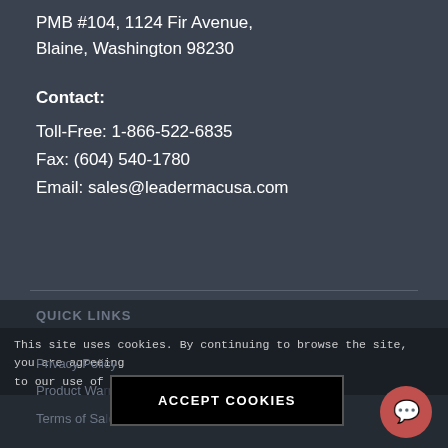PMB #104, 1124 Fir Avenue, Blaine, Washington 98230
Contact: Toll-Free: 1-866-522-6835  Fax: (604) 540-1780  Email: sales@leadermacusa.com
QUICK LINKS
This site uses cookies. By continuing to browse the site, you are agreeing to our use of cookies.
Privacy Policy
Product Wa...
Terms of Sale
ACCEPT COOKIES